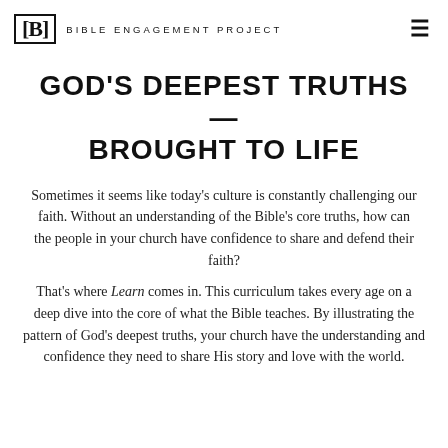[B] BIBLE ENGAGEMENT PROJECT
GOD'S DEEPEST TRUTHS—BROUGHT TO LIFE
Sometimes it seems like today's culture is constantly challenging our faith. Without an understanding of the Bible's core truths, how can the people in your church have confidence to share and defend their faith?
That's where Learn comes in. This curriculum takes every age on a deep dive into the core of what the Bible teaches. By illustrating the pattern of God's deepest truths, your church have the understanding and confidence they need to share His story and love with the world.